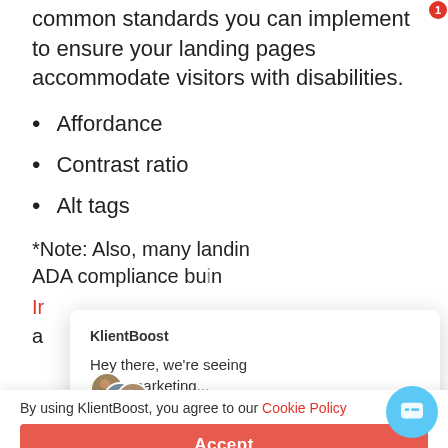common standards you can implement to ensure your landing pages accommodate visitors with disabilities.
Affordance
Contrast ratio
Alt tags
*Note: Also, many landing page... ADA compliance bu...n
In... a...
[Figure (screenshot): KlientBoost chat widget overlay with message 'Hey there, we're seeing some marketing...' and avatar images, plus cookie policy acceptance bar with 'By using KlientBoost, you agree to our Cookie Policy' and an Accept button. A chat bubble icon with notification badge (1) appears in the bottom right.]